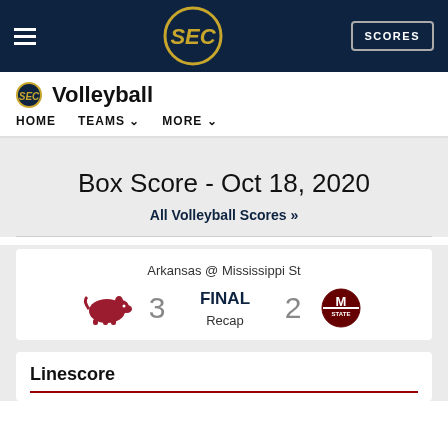SEC Volleyball - HOME | TEAMS | MORE
Box Score - Oct 18, 2020
All Volleyball Scores »
Arkansas @ Mississippi St
FINAL
3 - 2
Recap
Linescore